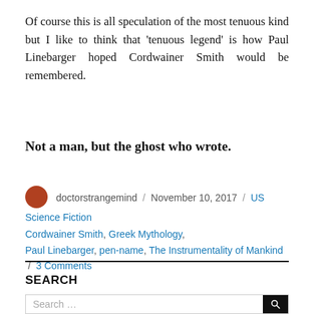Of course this is all speculation of the most tenuous kind but I like to think that 'tenuous legend' is how Paul Linebarger hoped Cordwainer Smith would be remembered.
Not a man, but the ghost who wrote.
doctorstrangemind / November 10, 2017 / US Science Fiction / Cordwainer Smith, Greek Mythology, Paul Linebarger, pen-name, The Instrumentality of Mankind / 3 Comments
SEARCH